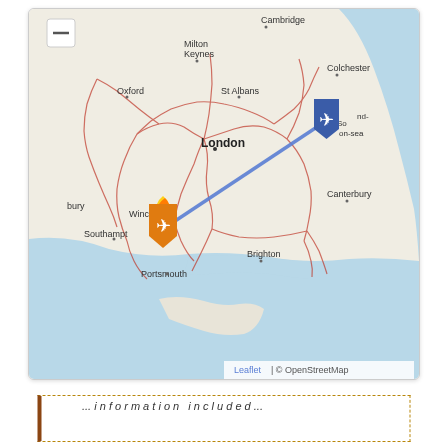[Figure (map): OpenStreetMap (Leaflet) showing southern England. A blue airplane marker is positioned near Southend-on-Sea, and an orange/flame airplane marker is near Portsmouth/Winchester. A blue diagonal line connects the two markers. Cities labeled include Cambridge, Milton Keynes, Oxford, St Albans, Colchester, London, Winchester, Southampton, Brighton, Canterbury, Portsmouth, and others. The English Channel is visible in the lower portion. Leaflet | © OpenStreetMap attribution shown in bottom-right.]
... information included ...